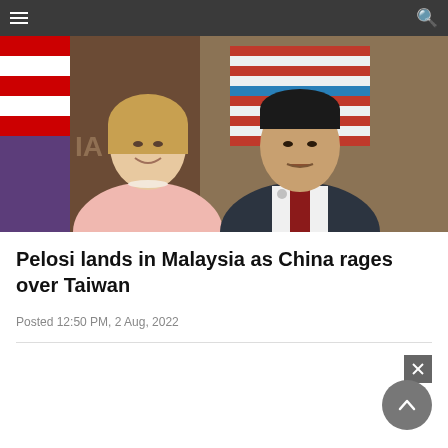[Figure (photo): Two people posing for a photo: a woman in a pink blazer with pearl necklace smiling, and a man in a dark suit with a red tie, with an American flag visible in the background.]
Pelosi lands in Malaysia as China rages over Taiwan
Posted 12:50 PM, 2 Aug, 2022